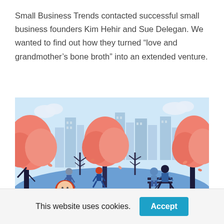Small Business Trends contacted successful small business founders Kim Hehir and Sue Delegan. We wanted to find out how they turned “love and grandmother’s bone broth” into an extended venture.
[Figure (illustration): A colorful flat illustration of a park scene with people walking dogs, sitting on a bench, and strolling among pink-leafed trees with a city skyline in the background.]
This website uses cookies.